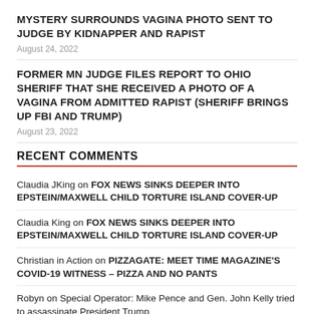MYSTERY SURROUNDS VAGINA PHOTO SENT TO JUDGE BY KIDNAPPER AND RAPIST
August 24, 2022
FORMER MN JUDGE FILES REPORT TO OHIO SHERIFF THAT SHE RECEIVED A PHOTO OF A VAGINA FROM ADMITTED RAPIST (SHERIFF BRINGS UP FBI AND TRUMP)
August 23, 2022
RECENT COMMENTS
Claudia JKing on FOX NEWS SINKS DEEPER INTO EPSTEIN/MAXWELL CHILD TORTURE ISLAND COVER-UP
Claudia King on FOX NEWS SINKS DEEPER INTO EPSTEIN/MAXWELL CHILD TORTURE ISLAND COVER-UP
Christian in Action on PIZZAGATE: MEET TIME MAGAZINE'S COVID-19 WITNESS – PIZZA AND NO PANTS
Robyn on Special Operator: Mike Pence and Gen. John Kelly tried to assassinate President Trump